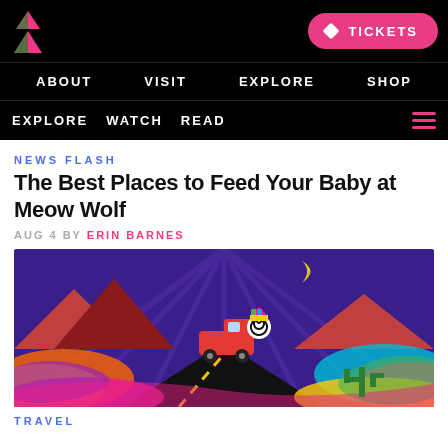Meow Wolf navigation: ABOUT, VISIT, EXPLORE, SHOP, EXPLORE, WATCH, READ, TICKETS
NEWS FLASH
The Best Places to Feed Your Baby at Meow Wolf
AUG 4 BY ERIN BARNES
[Figure (illustration): Colorful psychedelic illustration of a red truck driving on a highway through a surreal desert landscape with swirling neon colors, a crescent moon, and a figure with a spiral pattern]
TRAVEL